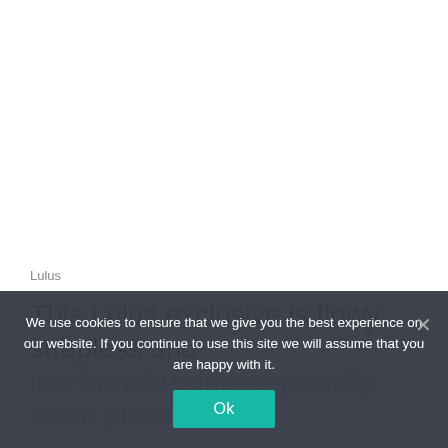[Figure (photo): White blank area representing a product image placeholder (no visible image content)]
Lulus
This Lulus exclusive is flowy, strapless and just breathtaking, especially when placed on
We use cookies to ensure that we give you the best experience on our website. If you continue to use this site we will assume that you are happy with it.
Ok